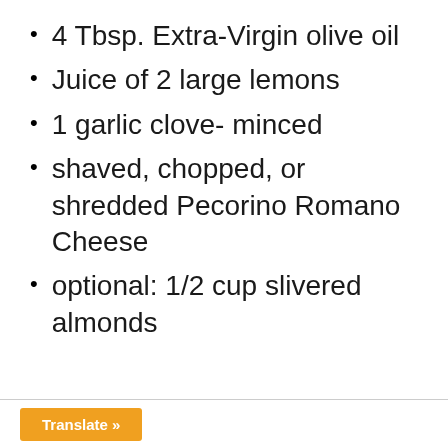4 Tbsp. Extra-Virgin olive oil
Juice of 2 large lemons
1 garlic clove- minced
shaved, chopped, or shredded Pecorino Romano Cheese
optional: 1/2 cup slivered almonds
Translate »